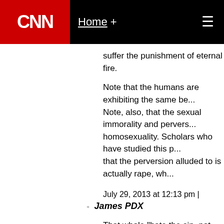[Figure (screenshot): CNN website navigation bar with red CNN logo, Home + link, and hamburger menu icon on black background]
suffer the punishment of eternal fire.
Note that the humans are exhibiting the same be... Note, also, that the sexual immorality and pervers... homosexuality. Scholars who have studied this p... that the perversion alluded to is actually rape, wh...
July 29, 2013 at 12:13 pm |
James PDX
That whole "hate the sin, not the sinner" line is a... escape Christ's mandate not to judge others. Unt... you better put down those stones, son. And Jesu... of us is without sin.
July 29, 2013 at 12:14 pm |
.
" "hate the sin, not the sinner" "